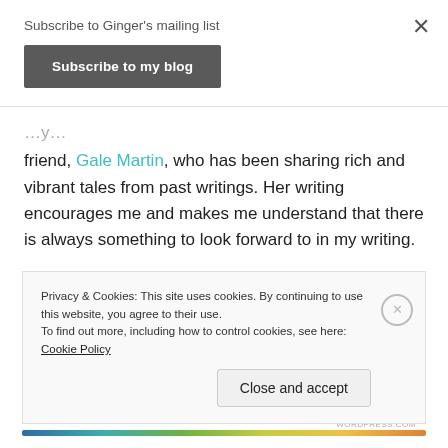Subscribe to Ginger's mailing list
Subscribe to my blog
friend, Gale Martin, who has been sharing rich and vibrant tales from past writings. Her writing encourages me and makes me understand that there is always something to look forward to in my writing.
So, for today, I am forgetting about myself and my writing and enjoying the beautiful words of those
Privacy & Cookies: This site uses cookies. By continuing to use this website, you agree to their use.
To find out more, including how to control cookies, see here: Cookie Policy
Close and accept